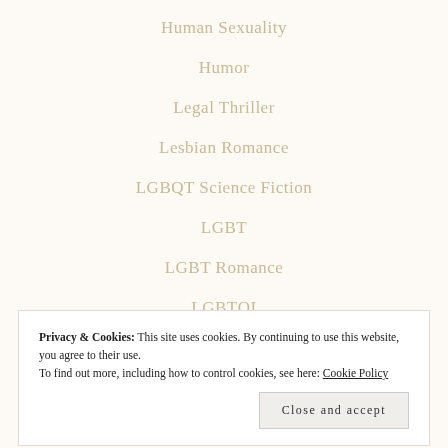Human Sexuality
Humor
Legal Thriller
Lesbian Romance
LGBQT Science Fiction
LGBT
LGBT Romance
LGBTQI
Literary Fiction
Privacy & Cookies: This site uses cookies. By continuing to use this website, you agree to their use.
To find out more, including how to control cookies, see here: Cookie Policy
Close and accept
Magical Realism